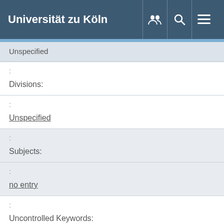Universität zu Köln
| Unspecified |
| :
Divisions: |
| :
Unspecified |
| :
Subjects: |
| :
no entry |
| :
Uncontrolled Keywords: |
| : |